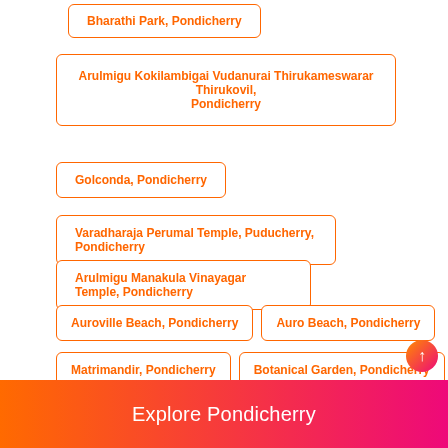Bharathi Park, Pondicherry
Arulmigu Kokilambigai Vudanurai Thirukameswarar Thirukovil, Pondicherry
Golconda, Pondicherry
Varadharaja Perumal Temple, Puducherry, Pondicherry
Arulmigu Manakula Vinayagar Temple, Pondicherry
Auroville Beach, Pondicherry
Auro Beach, Pondicherry
Matrimandir, Pondicherry
Botanical Garden, Pondicherry
Paradise Beach, Pondicherry
Immaculate Conception Cathedral, Pondicherry
Pondicherry Museum
Auroville, Pondicherry
Explore Pondicherry